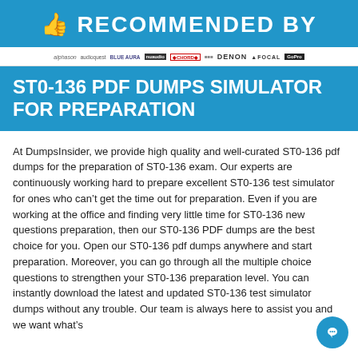👍 RECOMMENDED BY
[Figure (logo): Brand logos bar: alphason, audioquest, Blue Aura, nuaudio, Chord, unknown, DENON, FOCAL, GoPro]
ST0-136 PDF DUMPS SIMULATOR FOR PREPARATION
At DumpsInsider, we provide high quality and well-curated ST0-136 pdf dumps for the preparation of ST0-136 exam. Our experts are continuously working hard to prepare excellent ST0-136 test simulator for ones who can't get the time out for preparation. Even if you are working at the office and finding very little time for ST0-136 new questions preparation, then our ST0-136 PDF dumps are the best choice for you. Open our ST0-136 pdf dumps anywhere and start preparation. Moreover, you can go through all the multiple choice questions to strengthen your ST0-136 preparation level. You can instantly download the latest and updated ST0-136 test simulator dumps without any trouble. Our team is always here to assist you and we want what's